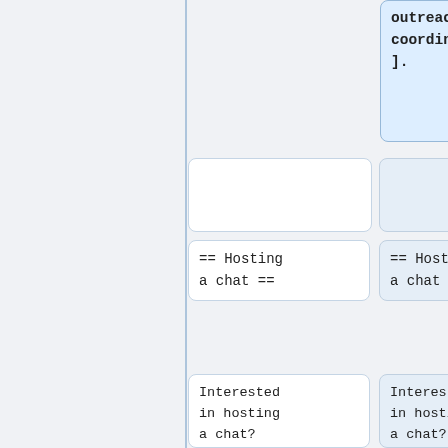outreach coordinators].
== Hosting a chat ==
== Hosting a chat ==
Interested in hosting a chat? Want to suggest a topic? Get in touch with the [[Pedagogy:Outreach#Who.27s_coordinating.3F | outreach coordinators
Interested in hosting a chat? Want to suggest a topic? Get in touch with the [[Pedagogy:Outreach#Who.27s_coordinating.3F | outreach coordinators